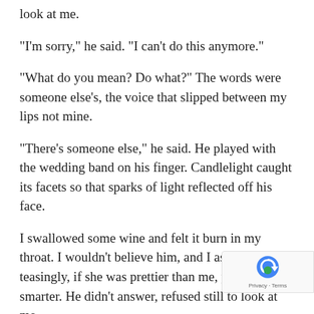look at me.
"I'm sorry," he said. "I can't do this anymore."
"What do you mean? Do what?" The words were someone else's, the voice that slipped between my lips not mine.
"There's someone else," he said. He played with the wedding band on his finger. Candlelight caught its facets so that sparks of light reflected off his face.
I swallowed some wine and felt it burn in my throat. I wouldn't believe him, and I asked him, teasingly, if she was prettier than me, younger and smarter. He didn't answer, refused still to look at me.
As the truth settled around us, I asked him if he